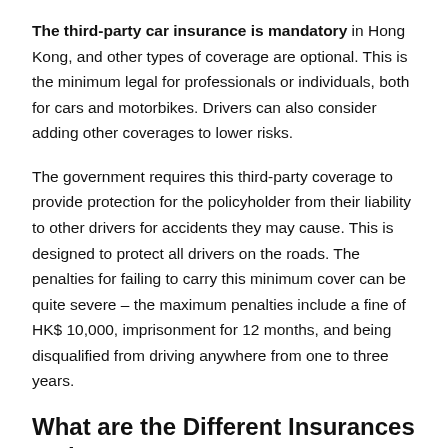The third-party car insurance is mandatory in Hong Kong, and other types of coverage are optional. This is the minimum legal for professionals or individuals, both for cars and motorbikes. Drivers can also consider adding other coverages to lower risks.
The government requires this third-party coverage to provide protection for the policyholder from their liability to other drivers for accidents they may cause. This is designed to protect all drivers on the roads. The penalties for failing to carry this minimum cover can be quite severe – the maximum penalties include a fine of HK$ 10,000, imprisonment for 12 months, and being disqualified from driving anywhere from one to three years.
What are the Different Insurances and What do They Cover?